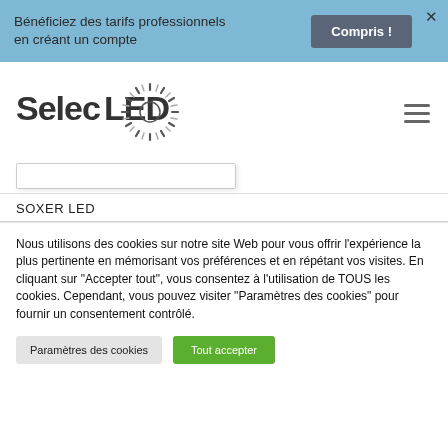Bénéficiez des tarifs professionnels en créant un compte
Compris !
[Figure (logo): SelecLED logo with sunburst/rays graphic element]
SOXER LED
Nous utilisons des cookies sur notre site Web pour vous offrir l'expérience la plus pertinente en mémorisant vos préférences et en répétant vos visites. En cliquant sur "Accepter tout", vous consentez à l'utilisation de TOUS les cookies. Cependant, vous pouvez visiter "Paramètres des cookies" pour fournir un consentement contrôlé.
Paramètres des cookies
Tout accepter